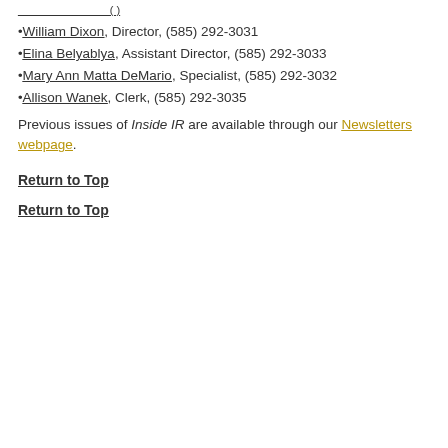William Dixon, Director, (585) 292-3031
Elina Belyablya, Assistant Director, (585) 292-3033
Mary Ann Matta DeMario, Specialist, (585) 292-3032
Allison Wanek, Clerk, (585) 292-3035
Previous issues of Inside IR are available through our Newsletters webpage.
Return to Top
Return to Top